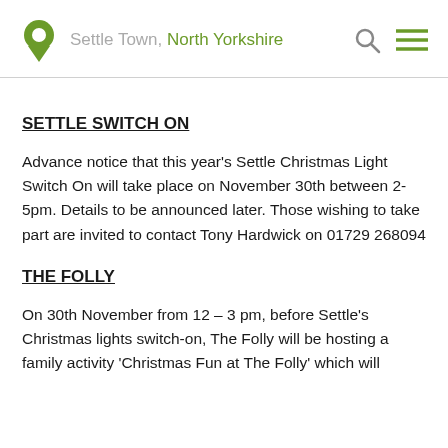Settle Town, North Yorkshire
SETTLE SWITCH ON
Advance notice that this year's Settle Christmas Light Switch On will take place on November 30th between 2-5pm. Details to be announced later. Those wishing to take part are invited to contact Tony Hardwick on 01729 268094
THE FOLLY
On 30th November from 12 – 3 pm, before Settle's Christmas lights switch-on, The Folly will be hosting a family activity 'Christmas Fun at The Folly' which will